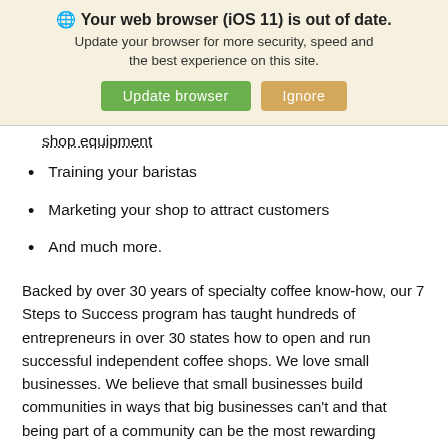🌐 Your web browser (iOS 11) is out of date. Update your browser for more security, speed and the best experience on this site. [Update browser] [Ignore]
shop equipment
Training your baristas
Marketing your shop to attract customers
And much more.
Backed by over 30 years of specialty coffee know-how, our 7 Steps to Success program has taught hundreds of entrepreneurs in over 30 states how to open and run successful independent coffee shops. We love small businesses. We believe that small businesses build communities in ways that big businesses can't and that being part of a community can be the most rewarding